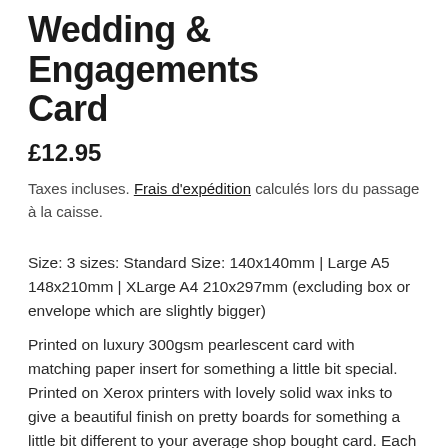Wedding & Engagements Card
£12.95
Taxes incluses. Frais d'expédition calculés lors du passage à la caisse.
Size: 3 sizes: Standard Size: 140x140mm | Large A5 148x210mm | XLarge A4 210x297mm (excluding box or envelope which are slightly bigger)
Printed on luxury 300gsm pearlescent card with matching paper insert for something a little bit special. Printed on Xerox printers with lovely solid wax inks to give a beautiful finish on pretty boards for something a little bit different to your average shop bought card. Each card is individually handmade to your order by us